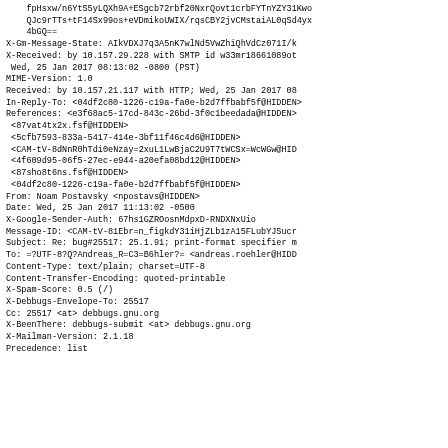fpHsxw/n6YtS5yLQXh9A+ESgcb72rbf20NxrQovt1crbFYTnYZY31Kwo QJc9rTTs+tF14Sx99os+eVDmikoUWIX/rqsCBY2jvCMstaiAL0qSd4yx 4bGQ==
X-Gm-Message-State: AIkVDXJ7q3A5nK7wlNd5VwZhiQhVdCz071I/k
X-Received: by 10.157.29.228 with SMTP id w33mr18661089of
 Wed, 25 Jan 2017 08:13:02 -0800 (PST)
MIME-Version: 1.0
Received: by 10.157.21.117 with HTTP; Wed, 25 Jan 2017 08
In-Reply-To: <04df2c80-1226-c19a-fa0e-b2d7ffbabf5f@HIDDEN>
References: <e3f68ac5-17cd-843c-26bd-3f0c1beedada@HIDDEN>
 <87vat4tx2x.fsf@HIDDEN>
 <5cfb7593-833a-5417-414e-3bf11f46c4d6@HIDDEN>
 <CAM-tV-8dNnR0hTdi0eNzay=2xuL1LwBjaC2U9T7tWCSx=WcWGw@HID
 <4f609d95-06f5-27ec-e944-a20efa08bd12@HIDDEN>
 <87sho8t6ns.fsf@HIDDEN>
 <04df2c80-1226-c19a-fa0e-b2d7ffbabf5f@HIDDEN>
From: Noam Postavsky <npostavs@HIDDEN>
Date: Wed, 25 Jan 2017 11:13:02 -0500
X-Google-Sender-Auth: 67hs1GZROosnMdpxD-RNDXNxUio
Message-ID: <CAM-tV-81Ebr=n_figkdY31iHjZLb1zA15FLubYJSucr
Subject: Re: bug#25517: 25.1.91; print-format specifier m
To: =?UTF-8?Q?Andreas_R=C3=B6hler?= <andreas.roehler@HIDD
Content-Type: text/plain; charset=UTF-8
Content-Transfer-Encoding: quoted-printable
X-Spam-Score: 0.5 (/)
X-Debbugs-Envelope-To: 25517
Cc: 25517 <at> debbugs.gnu.org
X-BeenThere: debbugs-submit <at> debbugs.gnu.org
X-Mailman-Version: 2.1.18
Precedence: list